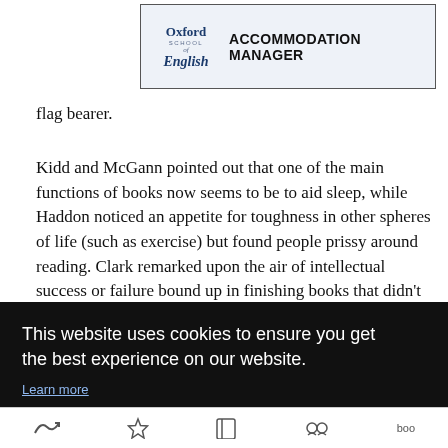[Figure (logo): Oxford School of English logo with 'ACCOMMODATION MANAGER' text banner]
flag bearer.
Kidd and McGann pointed out that one of the main functions of books now seems to be to aid sleep, while Haddon noticed an appetite for toughness in other spheres of life (such as exercise) but found people prissy around reading. Clark remarked upon the air of intellectual success or failure bound up in finishing books that didn't seem to apply to other media, and there was agreement that the reader should feel at liberty to put down a
This website uses cookies to ensure you get the best experience on our website.
Learn more
Got it!
Navigation icons bar